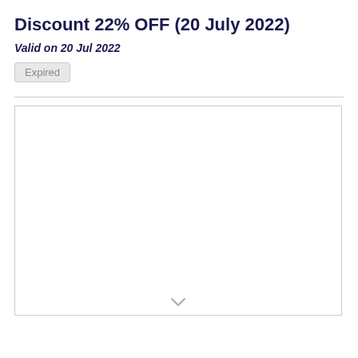Discount 22% OFF (20 July 2022)
Valid on 20 Jul 2022
Expired
[Figure (other): Empty white content box with a chevron/down-arrow icon at the bottom center]